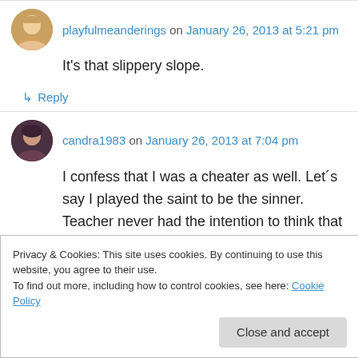playfulmeanderings on January 26, 2013 at 5:21 pm
It’s that slippery slope.
↳ Reply
candra1983 on January 26, 2013 at 7:04 pm
I confess that I was a cheater as well. Let´s say I played the saint to be the sinner. Teacher never had the intention to think that I might cheat. I
Privacy & Cookies: This site uses cookies. By continuing to use this website, you agree to their use.
To find out more, including how to control cookies, see here: Cookie Policy